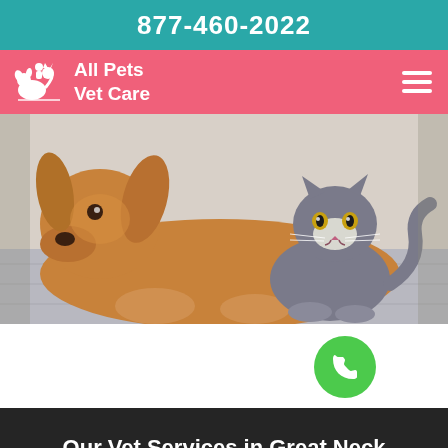877-460-2022
All Pets Vet Care
[Figure (photo): A golden retriever dog and a grey cat lying together on a tiled floor, looking at the camera.]
[Figure (other): Green circular phone call button icon]
Our Vet Services in Great Neck